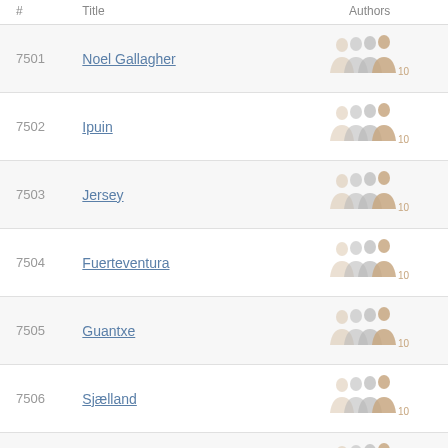| # | Title | Authors |
| --- | --- | --- |
| 7501 | Noel Gallagher | 10 |
| 7502 | Ipuin | 10 |
| 7503 | Jersey | 10 |
| 7504 | Fuerteventura | 10 |
| 7505 | Guantxe | 10 |
| 7506 | Sjælland | 10 |
| 7507 | Pedro Subijana | 10 |
| 7508 | Akira Toriyama | 10 |
| 7509 | Cesar Azpilikueta | 10 |